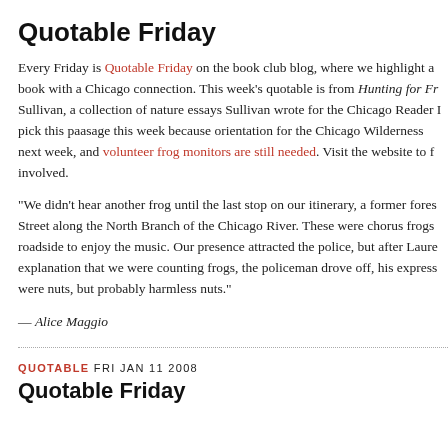Quotable Friday
Every Friday is Quotable Friday on the book club blog, where we highlight a book with a Chicago connection. This week's quotable is from Hunting for Fr Sullivan, a collection of nature essays Sullivan wrote for the Chicago Reader I pick this paasage this week because orientation for the Chicago Wilderness next week, and volunteer frog monitors are still needed. Visit the website to f involved.
"We didn't hear another frog until the last stop on our itinerary, a former fores Street along the North Branch of the Chicago River. These were chorus frogs roadside to enjoy the music. Our presence attracted the police, but after Laure explanation that we were counting frogs, the policeman drove off, his express were nuts, but probably harmless nuts."
— Alice Maggio
QUOTABLE FRI JAN 11 2008
Quotable Friday